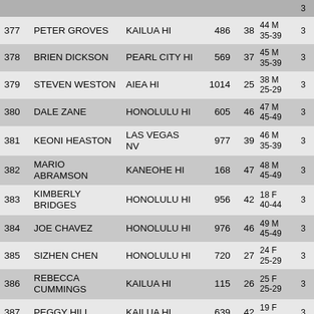| # | Name | City | Bib | Age | Info |  |
| --- | --- | --- | --- | --- | --- | --- |
| 377 | PETER GROVES | KAILUA HI | 486 | 38 | 44 M 35-39 | 3 |
| 378 | BRIEN DICKSON | PEARL CITY HI | 569 | 37 | 45 M 35-39 | 3 |
| 379 | STEVEN WESTON | AIEA HI | 1014 | 25 | 38 M 25-29 | 3 |
| 380 | DALE ZANE | HONOLULU HI | 605 | 46 | 47 M 45-49 | 3 |
| 381 | KEONI HEASTON | LAS VEGAS NV | 977 | 39 | 46 M 35-39 | 3 |
| 382 | MARIO ABRAMSON | KANEOHE HI | 168 | 47 | 48 M 45-49 | 3 |
| 383 | KIMBERLY BRIDGES | HONOLULU HI | 956 | 42 | 18 F 40-44 | 3 |
| 384 | JOE CHAVEZ | HONOLULU HI | 976 | 46 | 49 M 45-49 | 3 |
| 385 | SIZHEN CHEN | HONOLULU HI | 720 | 27 | 24 F 25-29 | 3 |
| 386 | REBECCA CUMMINGS | KAILUA HI | 115 | 26 | 25 F 25-29 | 3 |
| 387 | PEGGY HILL | KAILUA HI | 639 | 42 | 19 F 40-44 | 3 |
| 388 | ELMER CAPIZ | HONOLULU HI | 801 | 56 | 10 M 55-59 | 3 |